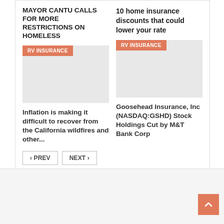MAYOR CANTU CALLS FOR MORE RESTRICTIONS ON HOMELESS
10 home insurance discounts that could lower your rate
[Figure (other): Gray placeholder image with RV INSURANCE tag]
[Figure (other): Gray placeholder image with RV INSURANCE tag]
Inflation is making it difficult to recover from the California wildfires and other...
Goosehead Insurance, Inc (NASDAQ:GSHD) Stock Holdings Cut by M&T Bank Corp